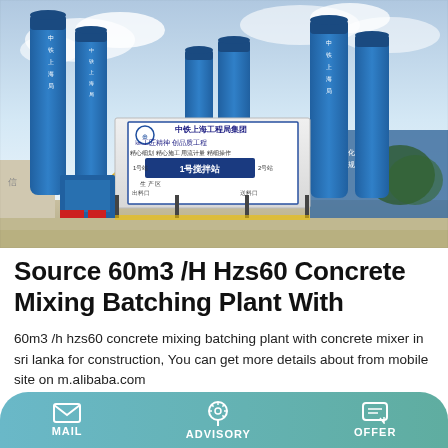[Figure (photo): A blue concrete mixing batching plant (HZS60) with multiple tall blue silos and a white building with Chinese text signage, taken outdoors with a partly cloudy sky. The central building bears the logo and text of a Chinese construction company (中铁上海工程局集团). Yellow support structures and industrial equipment are visible.]
Source 60m3 /H Hzs60 Concrete Mixing Batching Plant With
60m3 /h hzs60 concrete mixing batching plant with concrete mixer in sri lanka for construction, You can get more details about from mobile site on m.alibaba.com
MAIL   ADVISORY   OFFER